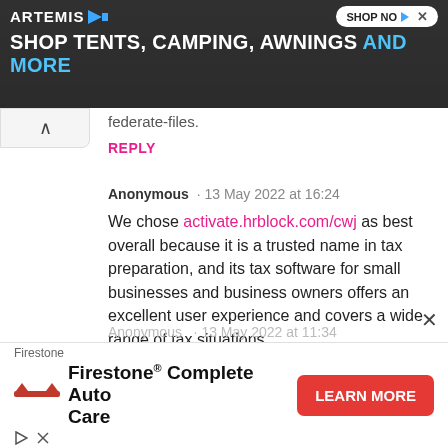[Figure (screenshot): Top banner advertisement for Artemis: 'SHOP TENTS, CAMPING, AWNINGS AND MORE' with Shop Now button on dark background]
federate-files.
REPLY
Anonymous · 13 May 2022 at 16:24
We chose activate.hrblock.com/cwj as best overall because it is a trusted name in tax preparation, and its tax software for small businesses and business owners offers an excellent user experience and covers a wide range of tax situations.
REPLY
[Figure (screenshot): Bottom banner advertisement for Firestone Complete Auto Care with Learn More button]